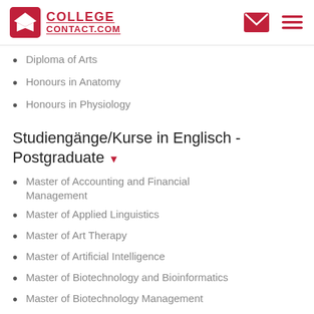COLLEGE CONTACT.COM
Diploma of Arts
Honours in Anatomy
Honours in Physiology
Studiengänge/Kurse in Englisch - Postgraduate
Master of Accounting and Financial Management
Master of Applied Linguistics
Master of Art Therapy
Master of Artificial Intelligence
Master of Biotechnology and Bioinformatics
Master of Biotechnology Management
Master of Business Administration
Master of Business Administration (Advanced)
Master of Business Administration and